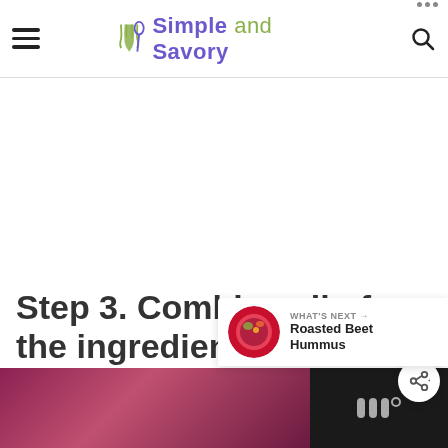Simple and Savory
[Figure (screenshot): White blank content area in the middle of the page]
WHAT'S NEXT → Roasted Beet Hummus
Step 3. Combine all of the ingredients
[Figure (other): Bottom bar with dark background and a purple/magenta gradient video thumbnail area, and a logo mark on the right]